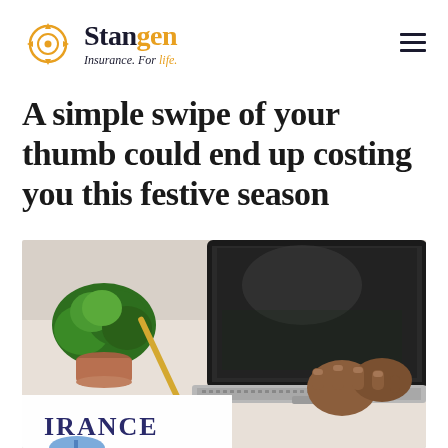Stangen Insurance. For life.
A simple swipe of your thumb could end up costing you this festive season
[Figure (photo): Person typing on a laptop computer at a desk with a small green potted plant nearby and an insurance document visible in the foreground]